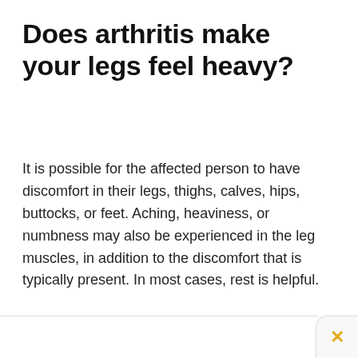Does arthritis make your legs feel heavy?
It is possible for the affected person to have discomfort in their legs, thighs, calves, hips, buttocks, or feet. Aching, heaviness, or numbness may also be experienced in the leg muscles, in addition to the discomfort that is typically present. In most cases, rest is helpful.